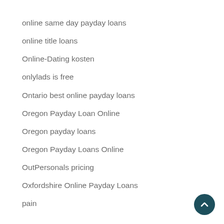online same day payday loans
online title loans
Online-Dating kosten
onlylads is free
Ontario best online payday loans
Oregon Payday Loan Online
Oregon payday loans
Oregon Payday Loans Online
OutPersonals pricing
Oxfordshire Online Payday Loans
pain